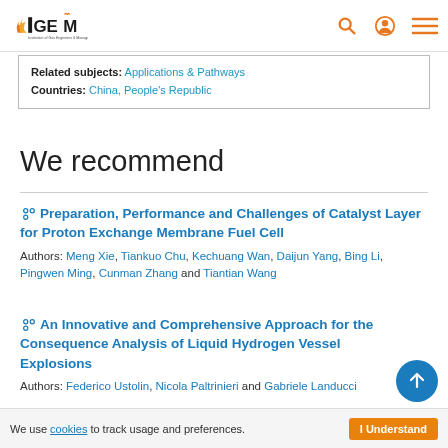IGEM header navigation
Related subjects: Applications & Pathways
Countries: China, People's Republic
We recommend
Preparation, Performance and Challenges of Catalyst Layer for Proton Exchange Membrane Fuel Cell
Authors: Meng Xie, Tiankuo Chu, Kechuang Wan, Daijun Yang, Bing Li, Pingwen Ming, Cunman Zhang and Tiantian Wang
An Innovative and Comprehensive Approach for the Consequence Analysis of Liquid Hydrogen Vessel Explosions
Authors: Federico Ustolin, Nicola Paltrinieri and Gabriele Landucci
We use cookies to track usage and preferences. I Understand